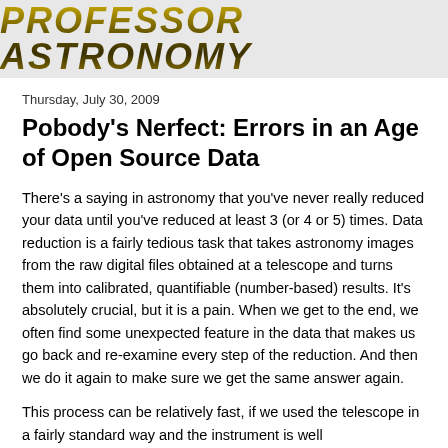PROFESSOR ASTRONOMY
Thursday, July 30, 2009
Pobody's Nerfect: Errors in an Age of Open Source Data
There's a saying in astronomy that you've never really reduced your data until you've reduced at least 3 (or 4 or 5) times. Data reduction is a fairly tedious task that takes astronomy images from the raw digital files obtained at a telescope and turns them into calibrated, quantifiable (number-based) results. It's absolutely crucial, but it is a pain. When we get to the end, we often find some unexpected feature in the data that makes us go back and re-examine every step of the reduction. And then we do it again to make sure we get the same answer again.
This process can be relatively fast, if we used the telescope in a fairly standard way and the instrument is well